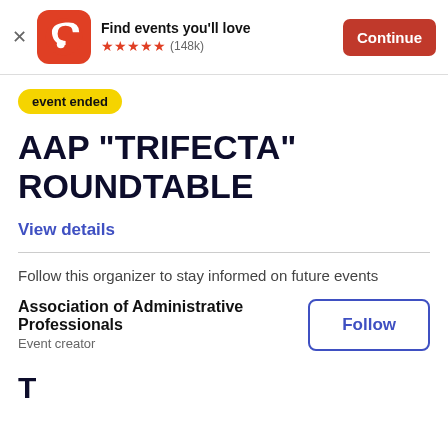Find events you'll love ★★★★★ (148k)  Continue
event ended
AAP "TRIFECTA" ROUNDTABLE
View details
Follow this organizer to stay informed on future events
Association of Administrative Professionals
Event creator
Follow